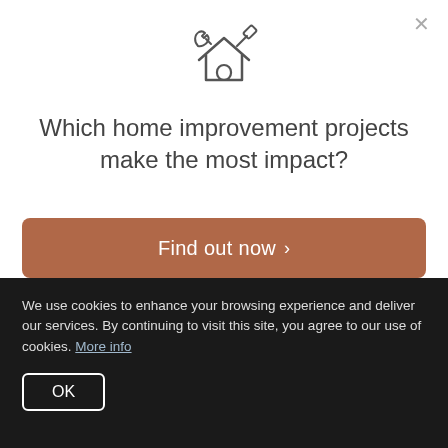[Figure (illustration): Home improvement icon showing a house outline with a wrench and hammer/tools above it, drawn in a thin line style]
Which home improvement projects make the most impact?
Find out now >
Terms. By choosing to visit and interact with Curaytor, you agree that your visit and any dispute regarding the protection of your
We use cookies to enhance your browsing experience and deliver our services. By continuing to visit this site, you agree to our use of cookies. More info
OK